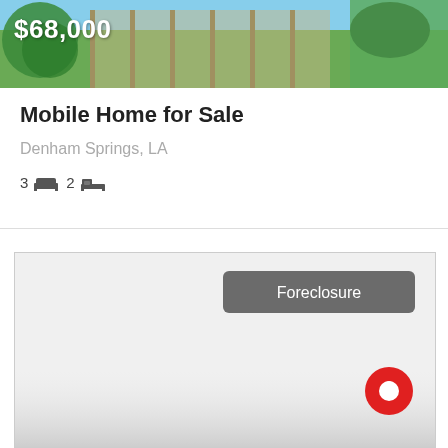[Figure (photo): Photo strip of mobile home exterior with trees and grass, showing price $68,000]
Mobile Home for Sale
Denham Springs, LA
3 bed  2 bath
[Figure (map): Map view with Foreclosure badge and red location pin marker]